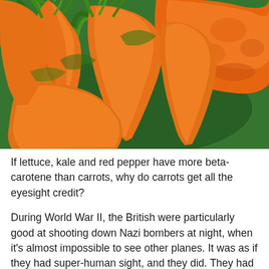[Figure (photo): Close-up photograph of multiple fresh orange carrots with green leafy tops, piled on a green surface. A large misshapen carrot is visible in the upper right corner.]
If lettuce, kale and red pepper have more beta-carotene than carrots, why do carrots get all the eyesight credit?
During World War II, the British were particularly good at shooting down Nazi bombers at night, when it's almost impossible to see other planes. It was as if they had super-human sight, and they did. They had radar.